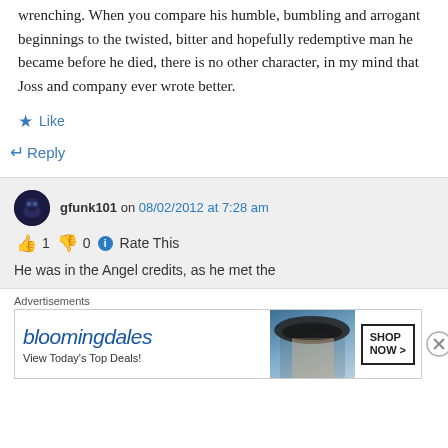wrenching. When you compare his humble, bumbling and arrogant beginnings to the twisted, bitter and hopefully redemptive man he became before he died, there is no other character, in my mind that Joss and company ever wrote better.
★ Like
↵ Reply
gfunk101 on 08/02/2012 at 7:28 am
👍 1 👎 0 ℹ Rate This
He was in the Angel credits, as he met the
Advertisements
[Figure (screenshot): Bloomingdale's advertisement banner: 'View Today's Top Deals!' with woman in wide-brim hat and 'SHOP NOW >' button]